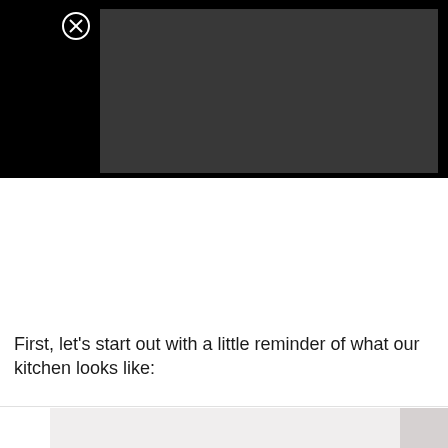[Figure (screenshot): Video player area with black background and a dark gray video placeholder rectangle. A close (X) button is visible in the upper left area of the black bar.]
First, let's start out with a little reminder of what our kitchen looks like:
[Figure (photo): Bottom partial image showing a kitchen scene, light gray and slightly darker gray areas visible.]